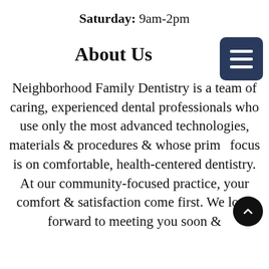Saturday: 9am-2pm
About Us
Neighborhood Family Dentistry is a team of caring, experienced dental professionals who use only the most advanced technologies, materials & procedures & whose prima focus is on comfortable, health-centered dentistry. At our community-focused practice, your comfort & satisfaction come first. We look forward to meeting you soon &